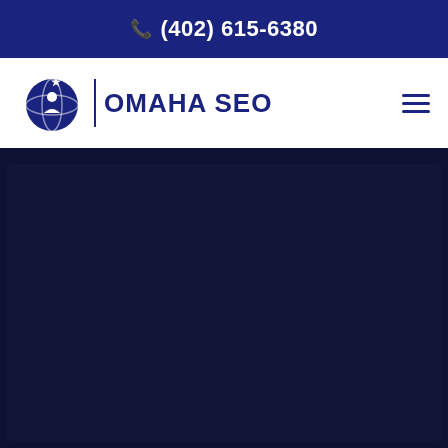☎ (402) 615-6380
[Figure (logo): Omaha SEO logo with globe/person icon and text 'OMAHA SEO']
[Figure (other): Dark navy background content area with slightly lighter inner box]